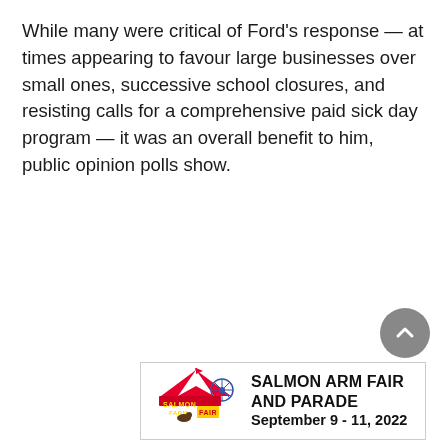While many were critical of Ford's response — at times appearing to favour large businesses over small ones, successive school closures, and resisting calls for a comprehensive paid sick day program — it was an overall benefit to him, public opinion polls show.
[Figure (other): Salmon Arm Fair and Parade advertisement banner with logo on the left and event text on the right]